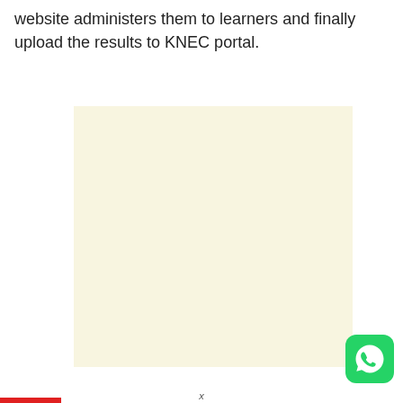website administers them to learners and finally upload the results to KNEC portal.
[Figure (other): A blank cream/off-white rectangular image placeholder area]
[Figure (logo): WhatsApp green circular icon with white phone/chat logo]